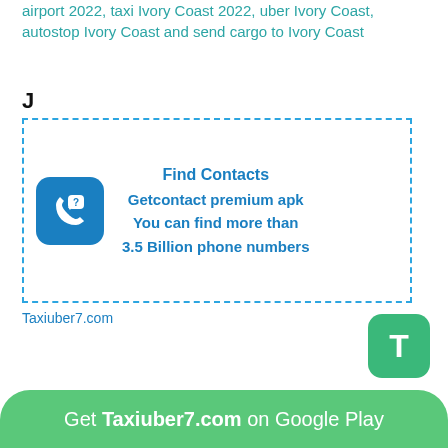airport 2022, taxi Ivory Coast 2022, uber Ivory Coast, autostop Ivory Coast and send cargo to Ivory Coast
J
[Figure (infographic): Find Contacts advertisement box with dashed blue border, phone icon, and text: Find Contacts, Getcontact premium apk, You can find more than 3.5 Billion phone numbers]
Taxiuber7.com
[Figure (logo): Green rounded square button with white letter T]
Get Taxiuber7.com on Google Play